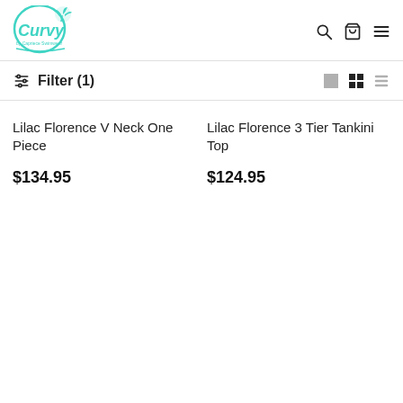Curvy by Capriece Swimwear
Filter (1)
Lilac Florence V Neck One Piece
$134.95
Lilac Florence 3 Tier Tankini Top
$124.95